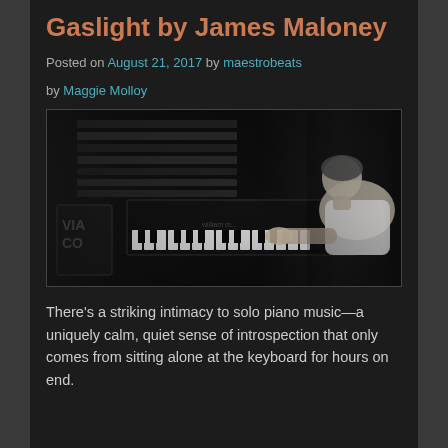Gaslight by James Maloney
Posted on August 21, 2017 by maestrobeats
by Maggie Molloy
[Figure (photo): Black and white photograph of a young man leaning over a piano keyboard in a dimly lit room, playing intensely. Piano keys and shelves with books/records visible in the background.]
There’s a striking intimacy to solo piano music—a uniquely calm, quiet sense of introspection that only comes from sitting alone at the keyboard for hours on end.